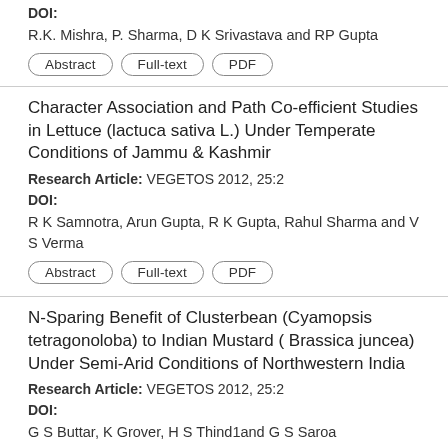DOI:
R.K. Mishra, P. Sharma, D K Srivastava and RP Gupta
Abstract | Full-text | PDF
Character Association and Path Co-efficient Studies in Lettuce (lactuca sativa L.) Under Temperate Conditions of Jammu & Kashmir
Research Article: VEGETOS 2012, 25:2
DOI:
R K Samnotra, Arun Gupta, R K Gupta, Rahul Sharma and V S Verma
Abstract | Full-text | PDF
N-Sparing Benefit of Clusterbean (Cyamopsis tetragonoloba) to Indian Mustard ( Brassica juncea) Under Semi-Arid Conditions of Northwestern India
Research Article: VEGETOS 2012, 25:2
DOI:
G S Buttar, K Grover, H S Thind1and G S Saroa